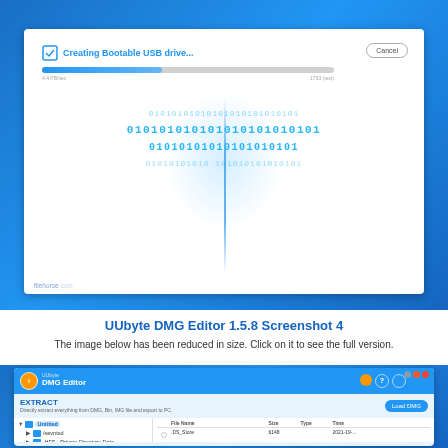[Figure (screenshot): UUbyte DMG Editor screenshot showing 'Creating Bootable USB drive...' progress bar with binary code animation in background and Cancel button]
UUbyte DMG Editor 1.5.8 Screenshot 4
The image below has been reduced in size. Click on it to see the full version.
[Figure (screenshot): UUbyte DMG Editor interface showing EXTRACT tab with file tree including Untitled, /sevntsd, .HFS+ Private Directory Data... folders, and file listing with File Name, Size, Type, Time columns. A .DS_Store file shown with size 6148 and date 2021-19-...]